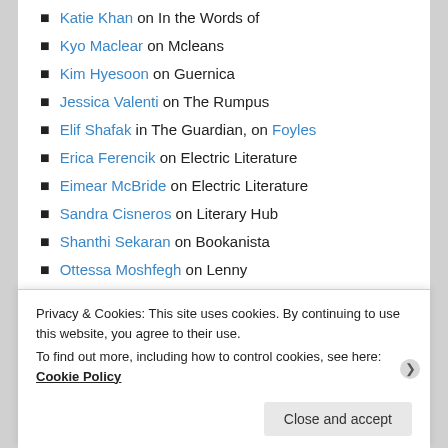Katie Khan on In the Words of
Kyo Maclear on Mcleans
Kim Hyesoon on Guernica
Jessica Valenti on The Rumpus
Elif Shafak in The Guardian, on Foyles
Erica Ferencik on Electric Literature
Eimear McBride on Electric Literature
Sandra Cisneros on Literary Hub
Shanthi Sekaran on Bookanista
Ottessa Moshfegh on Lenny
[Figure (screenshot): Red advertisement banner: 'The best stories on the web – ours, and everyone else's.' with REPORT THIS AD text below.]
Privacy & Cookies: This site uses cookies. By continuing to use this website, you agree to their use.
To find out more, including how to control cookies, see here: Cookie Policy
Close and accept